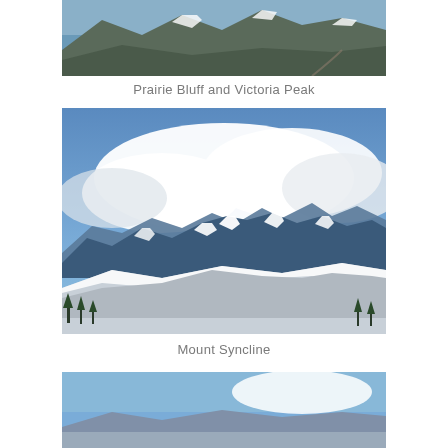[Figure (photo): Aerial or elevated view of snow-capped mountains with forest and a road visible, partial top crop]
Prairie Bluff and Victoria Peak
[Figure (photo): Mountain landscape with snow-covered peaks under a blue sky with large white clouds; foreground shows snow-covered rolling hills with scattered evergreen trees]
Mount Syncline
[Figure (photo): Partial view of another mountain landscape, cropped at bottom of page, showing blue sky and mountains]